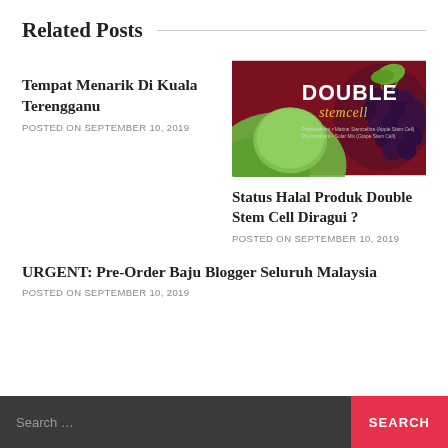Related Posts
Tempat Menarik Di Kuala Terengganu
POSTED ON SEPTEMBER 10, 2019
[Figure (photo): Double stemcell product advertisement with green apple and dark grapes on red background]
Status Halal Produk Double Stem Cell Diragui ?
POSTED ON SEPTEMBER 10, 2019
URGENT: Pre-Order Baju Blogger Seluruh Malaysia
POSTED ON SEPTEMBER 10, 2019